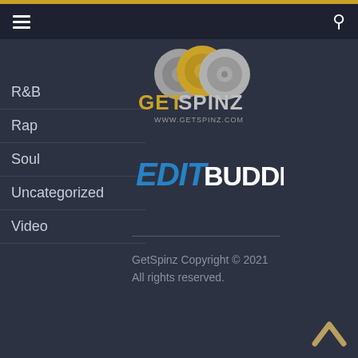Navigation bar with hamburger menu and search icon
R&B
Rap
Soul
Uncategorized
Video
[Figure (logo): GetSpinz logo with vinyl records graphic and www.getspinz.com URL]
[Figure (logo): EditBuddies logo with blue italic EDIT and white BUDDIES text]
GetSpinz Copyright © 2021 All rights reserved.
Back to top chevron arrow